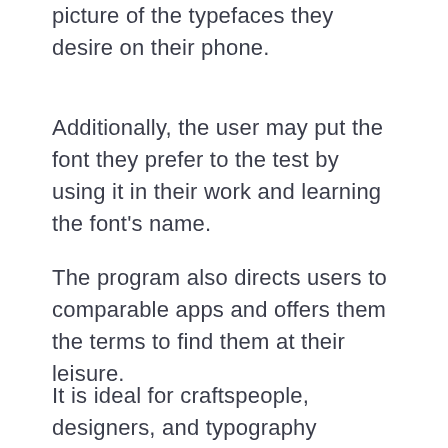picture of the typefaces they desire on their phone.
Additionally, the user may put the font they prefer to the test by using it in their work and learning the font's name.
The program also directs users to comparable apps and offers them the terms to find them at their leisure.
It is ideal for craftspeople, designers, and typography enthusiasts. It is perfect for when you come across a stunning design and want to know what fonts were used or when a